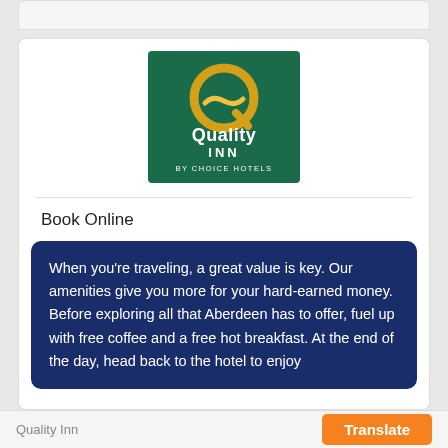[Figure (logo): Quality Inn by Choice Hotels logo — dark green background with gold Q letter and golden wave, white text reading Quality INN BY CHOICE HOTELS]
Book Online
When you're traveling, a great value is key. Our amenities give you more for your hard-earned money. Before exploring all that Aberdeen has to offer, fuel up with free coffee and a free hot breakfast. At the end of the day, head back to the hotel to enjoy
Quality Inn     Translate